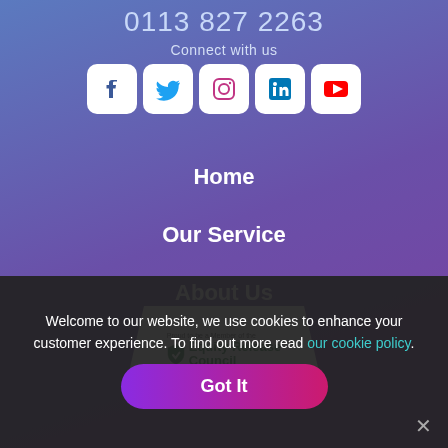0113 827 2263
Connect with us
[Figure (other): Row of five social media icons: Facebook, Twitter, Instagram, LinkedIn, YouTube — white rounded squares on purple background]
Home
Our Service
About Us
[Figure (logo): Equity Release Council member badge — white hexagonal badge with green logo and text 'Proud to be a Member of the Equity Release Council']
Welcome to our website, we use cookies to enhance your customer experience. To find out more read our cookie policy.
Got It